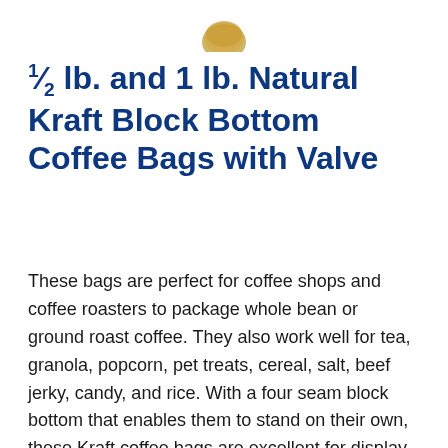[Figure (logo): Partial circular logo/emblem visible at top center of page, gold/tan colored badge shape]
½ lb. and 1 lb. Natural Kraft Block Bottom Coffee Bags with Valve
These bags are perfect for coffee shops and coffee roasters to package whole bean or ground roast coffee. They also work well for tea, granola, popcorn, pet treats, cereal, salt, beef jerky, candy, and rice. With a four seam block bottom that enables them to stand on their own, these Kraft coffee bags are excellent for display. Not only that, they also have a built-in valve that prevents the build-up of CO2 by allowing air to go out, but keeps air